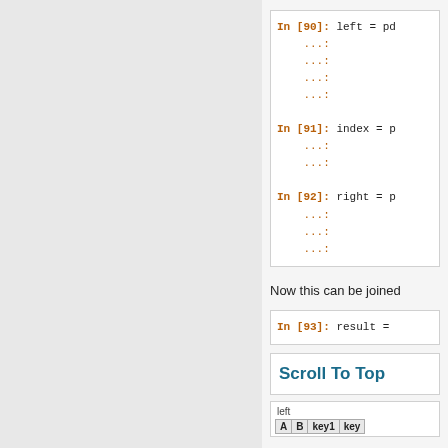[Figure (screenshot): Jupyter notebook code cells showing In [90] with left = pd... continuation lines, In [91] with index = p... continuation lines, In [92] with right = p... continuation lines]
Now this can be joined
[Figure (screenshot): Jupyter notebook code cell In [93]: result =]
[Figure (screenshot): Scroll To Top button in teal/dark cyan bold text]
| A | B | key1 | key |
| --- | --- | --- | --- |